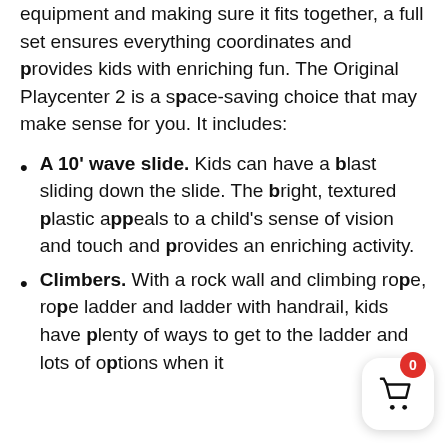equipment and making sure it fits together, a full set ensures everything coordinates and provides kids with enriching fun. The Original Playcenter 2 is a space-saving choice that may make sense for you. It includes:
A 10' wave slide. Kids can have a blast sliding down the slide. The bright, textured plastic appeals to a child's sense of vision and touch and provides an enriching activity.
Climbers. With a rock wall and climbing rope, rope ladder and ladder with handrail, kids have plenty of ways to get to the ladder and lots of options when it